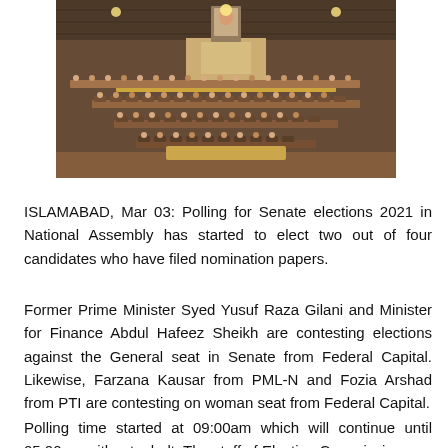[Figure (photo): Wide-angle photograph of Pakistan's National Assembly hall filled with members seated at rows of wooden desks, with a golden speaker's podium and a portrait on the wall at the front.]
ISLAMABAD, Mar 03: Polling for Senate elections 2021 in National Assembly has started to elect two out of four candidates who have filed nomination papers.
Former Prime Minister Syed Yusuf Raza Gilani and Minister for Finance Abdul Hafeez Sheikh are contesting elections against the General seat in Senate from Federal Capital. Likewise, Farzana Kausar from PML-N and Fozia Arshad from PTI are contesting on woman seat from Federal Capital.
Polling time started at 09:00am which will continue until 05:00pm without a halt. The staff of Election Commission